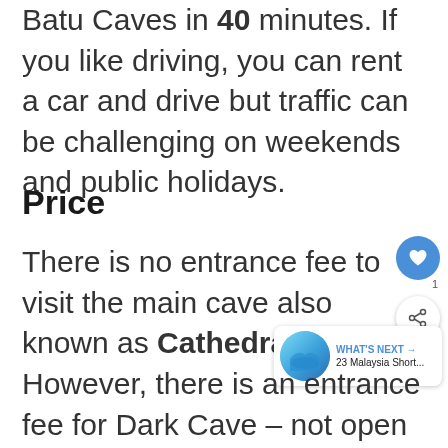Batu Caves in 40 minutes. If you like driving, you can rent a car and drive but traffic can be challenging on weekends and public holidays.
Price
There is no entrance fee to visit the main cave also known as Cathedral Cave.
However, there is an entrance fee for Dark Cave – not open all the